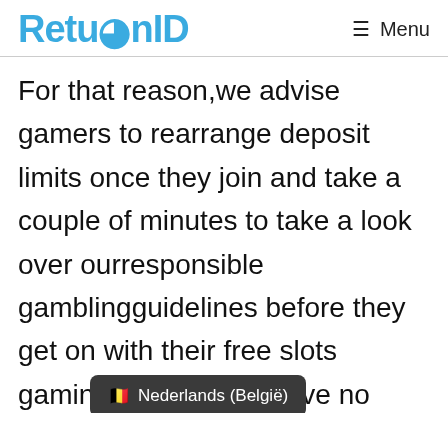ReturnID  Menu
For that reason,we advise gamers to rearrange deposit limits once they join and take a couple of minutes to take a look over ourresponsible gamblingguidelines before they get on with their free slots gaming. You should have no difficulties finding and then taking part in any slot video games y... line and you will